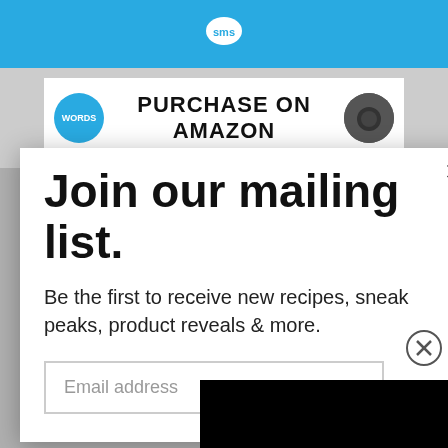SMS
[Figure (screenshot): Ad banner with WORDS badge, PURCHASE ON AMAZON text, and camera product image]
Join our mailing list.
Be the first to receive new recipes, sneak peaks, product reveals & more.
Email address
[Figure (screenshot): Video overlay showing article thumbnail with purple headphones and text 37 GENIUS AMAZON PRODUCTS THAT CAN BE USED BY ANYONE, with 22 badge and black video overlay]